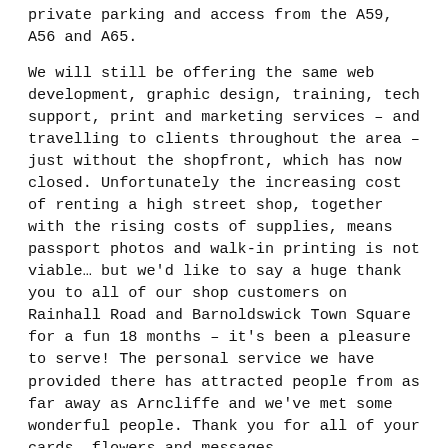private parking and access from the A59, A56 and A65.
We will still be offering the same web development, graphic design, training, tech support, print and marketing services – and travelling to clients throughout the area – just without the shopfront, which has now closed. Unfortunately the increasing cost of renting a high street shop, together with the rising costs of supplies, means passport photos and walk-in printing is not viable… but we'd like to say a huge thank you to all of our shop customers on Rainhall Road and Barnoldswick Town Square for a fun 18 months – it's been a pleasure to serve! The personal service we have provided there has attracted people from as far away as Arncliffe and we've met some wonderful people. Thank you for all of your cards, flowers and messages.
We'll post some photos from inside the new studio when the paint has dried and you are of course welcome to come and see us any time. It's best to get to us via West Marton and Bank Newton, or Broughton or Gargrave at the moment, as the lane from the Cross Keys at East Marton is somewhat muddy and pot-holed (but scheduled to be resurfaced in Spring). Just give us a shout on 01282 881611 for an appointment and directions.
The best way to get in the way of Clang and Cat high is...